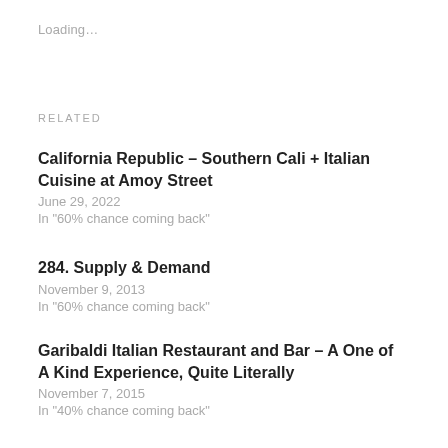Loading…
RELATED
California Republic – Southern Cali + Italian Cuisine at Amoy Street
June 29, 2022
In "60% chance coming back"
284. Supply & Demand
November 9, 2013
In "60% chance coming back"
Garibaldi Italian Restaurant and Bar – A One of A Kind Experience, Quite Literally
November 7, 2015
In "40% chance coming back"